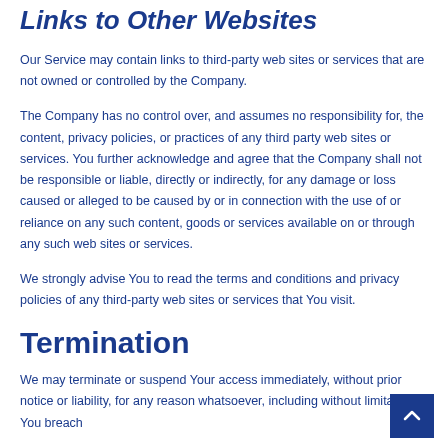Links to Other Websites
Our Service may contain links to third-party web sites or services that are not owned or controlled by the Company.
The Company has no control over, and assumes no responsibility for, the content, privacy policies, or practices of any third party web sites or services. You further acknowledge and agree that the Company shall not be responsible or liable, directly or indirectly, for any damage or loss caused or alleged to be caused by or in connection with the use of or reliance on any such content, goods or services available on or through any such web sites or services.
We strongly advise You to read the terms and conditions and privacy policies of any third-party web sites or services that You visit.
Termination
We may terminate or suspend Your access immediately, without prior notice or liability, for any reason whatsoever, including without limitation if You breach